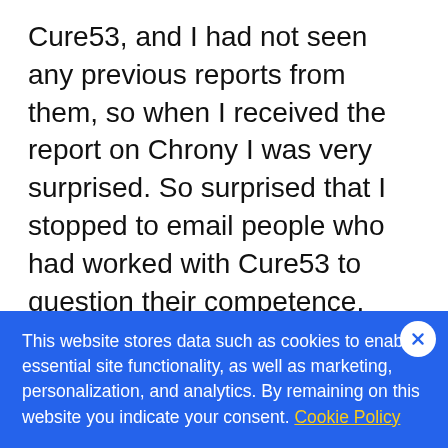Cure53, and I had not seen any previous reports from them, so when I received the report on Chrony I was very surprised. So surprised that I stopped to email people who had worked with Cure53 to question their competence. When they assured me that the team was highly skilled and capable, I was astounded. Chrony withstood three skilled security testers for 11 days of solid testing and the result was just 2
This website stores data such as cookies to enable essential site functionality, as well as marketing, personalization, and analytics. By remaining on this website you indicate your consent. Cookie Policy